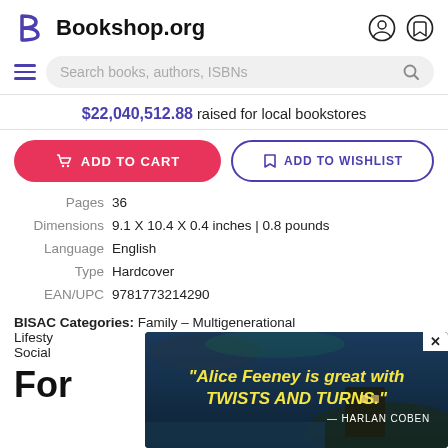[Figure (logo): Bookshop.org logo with stylized B icon in purple and site name in bold black]
Search books, authors, ISBNs
$22,040,512.88 raised for local bookstores
ADD TO CART
ADD TO WISHLIST
Pages 36
Dimensions 9.1 X 10.4 X 0.4 inches | 0.8 pounds
Language English
Type Hardcover
EAN/UPC 9781773214290
BISAC Categories: Family - Multigenerational
Lifestyle
Social
[Figure (screenshot): Advertisement overlay: dark teal background with house on cliff. Yellow italic text: "Alice Feeney is great with TWISTS AND TURNS." — HARLAN COBEN. X close button top right.]
For